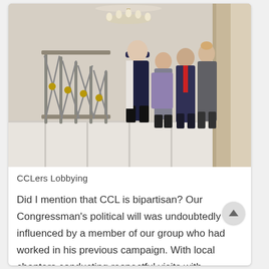[Figure (photo): Four people in formal attire standing and conversing near an ornate metal staircase railing with a chandelier above, inside what appears to be a government building with marble floors.]
CCLers Lobbying
Did I mention that CCL is bipartisan? Our Congressman's political will was undoubtedly influenced by a member of our group who had worked in his previous campaign. With local chapters conducting respectful visits with Members of Congress all over the country for a